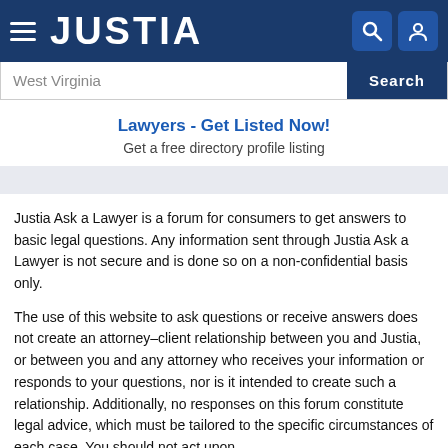JUSTIA
West Virginia
Search
Lawyers - Get Listed Now!
Get a free directory profile listing
Justia Ask a Lawyer is a forum for consumers to get answers to basic legal questions. Any information sent through Justia Ask a Lawyer is not secure and is done so on a non-confidential basis only.
The use of this website to ask questions or receive answers does not create an attorney–client relationship between you and Justia, or between you and any attorney who receives your information or responds to your questions, nor is it intended to create such a relationship. Additionally, no responses on this forum constitute legal advice, which must be tailored to the specific circumstances of each case. You should not act upon